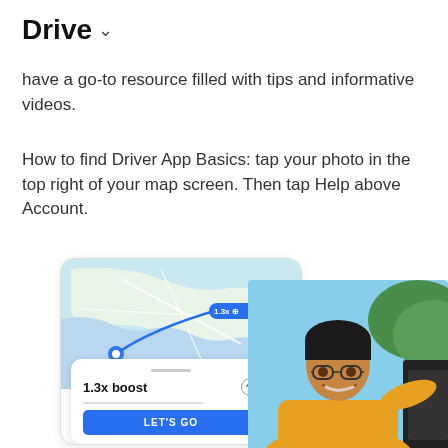Drive ∨
have a go-to resource filled with tips and informative videos.
How to find Driver App Basics: tap your photo in the top right of your map screen. Then tap Help above Account.
[Figure (screenshot): Phone mockup showing a map with a 1.3x boost indicator and a 'LET'S GO' button card overlay, alongside a photo of a smiling man in a yellow shirt leaning against a car door outdoors.]